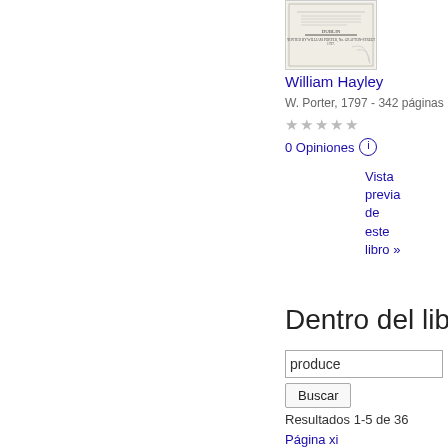[Figure (illustration): Book cover thumbnail for a William Hayley book published by W. Porter, 1797, Dublin imprint visible]
William Hayley
W. Porter, 1797 - 342 páginas
★★★★★
0 Opiniones ⓘ
Vista previa de este libro »
Dentro del libro
produce
Buscar
Resultados 1-5 de 36
Página xi